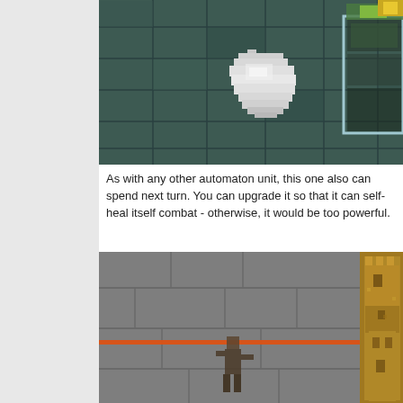[Figure (screenshot): Top screenshot showing a pixelated game scene with stone/brick tile floor in dark teal/green color. A large white pixelated blob or creature is visible in the center. A light blue rectangular UI element is visible on the right side with yellow pixelated icons.]
As with any other automaton unit, this one also can spend next turn. You can upgrade it so that it can self-heal itself combat - otherwise, it would be too powerful.
[Figure (screenshot): Bottom screenshot showing a game scene with gray stone walls, an orange horizontal line/bar visible. A character figure is visible in the lower portion. On the right side there is a pixelated castle or tower illustration in warm brown/golden tones.]